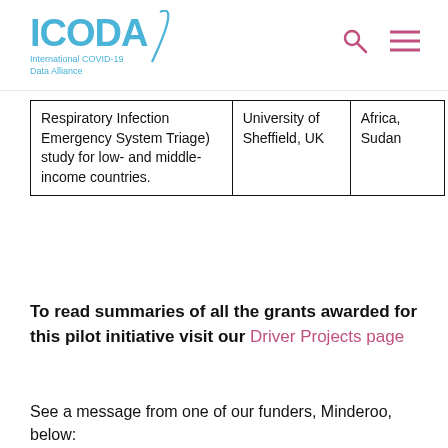ICODA International COVID-19 Data Alliance
| Respiratory Infection Emergency System Triage) study for low- and middle-income countries. | University of Sheffield, UK | Africa, Sudan |
To read summaries of all the grants awarded for this pilot initiative visit our Driver Projects page
See a message from one of our funders, Minderoo, below: